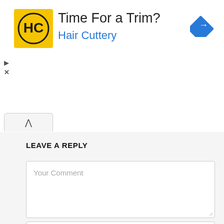[Figure (screenshot): Advertisement banner for Hair Cuttery with yellow logo, title 'Time For a Trim?', subtitle 'Hair Cuttery' in blue, and a blue diamond navigation icon on the right. Small play and close icons on the left side.]
LEAVE A REPLY
Your Comment
Name *